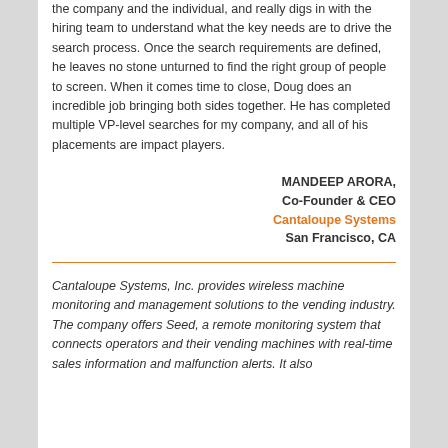the company and the individual, and really digs in with the hiring team to understand what the key needs are to drive the search process. Once the search requirements are defined, he leaves no stone unturned to find the right group of people to screen. When it comes time to close, Doug does an incredible job bringing both sides together. He has completed multiple VP-level searches for my company, and all of his placements are impact players.
MANDEEP ARORA, Co-Founder & CEO Cantaloupe Systems San Francisco, CA
Cantaloupe Systems, Inc. provides wireless machine monitoring and management solutions to the vending industry. The company offers Seed, a remote monitoring system that connects operators and their vending machines with real-time sales information and malfunction alerts. It also